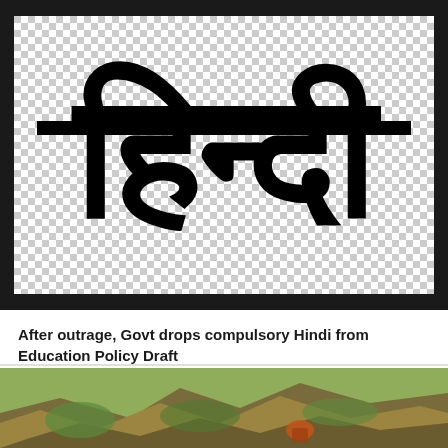[Figure (illustration): Large Hindi script word 'hindi' (हिन्दी) in bold black calligraphic Devanagari lettering on a checkered (transparent-indicating) white background, framed by a thick black border.]
After outrage, Govt drops compulsory Hindi from Education Policy Draft
[Figure (photo): Partial photograph at bottom showing a mountainous or rocky terrain landscape with green and brown hues.]